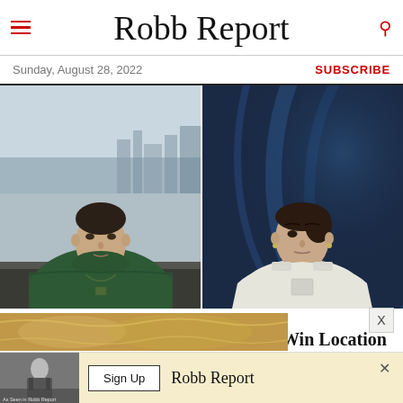Robb Report
Sunday, August 28, 2022
SUBSCRIBE
[Figure (photo): Two-panel image: left side shows a man in a dark green turtleneck with a chain necklace against a city skyline background; right side shows a woman in a white sleeveless top against a blue sci-fi background.]
VARIETY
'Succession' and 'Stranger Things' Win Location Managers Guild Awards
[Figure (photo): Bottom strip showing partial image of ornate golden decor, partially obscured.]
[Figure (screenshot): Advertisement banner for Robb Report with a 'Sign Up' button and Robb Report logo on a cream background, with a small man in suit on the left side. Text reads 'As Seen in Robb Report'.]